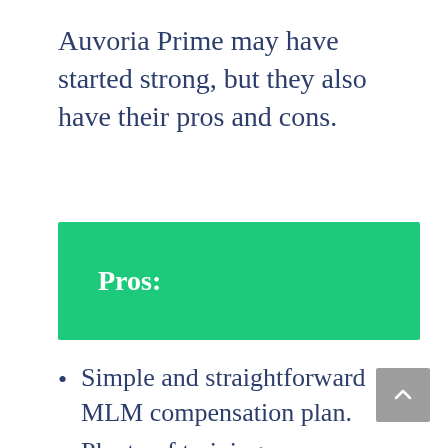Auvoria Prime may have started strong, but they also have their pros and cons.
Pros:
Simple and straightforward MLM compensation plan.
Plenty of training resources and support from the current affiliates sharing their